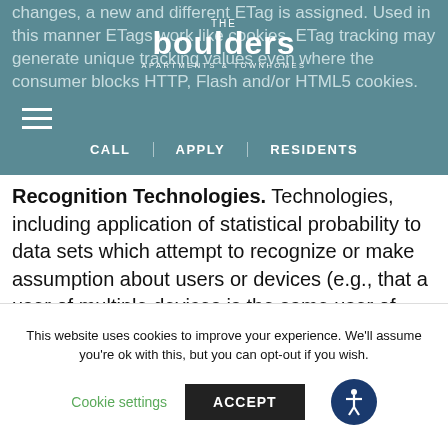The Boulders Apartments & Townhomes — Navigation bar with CALL | APPLY | RESIDENTS
changes, a new and different ETag is assigned. Used in this manner ETags work like cookies. ETag tracking may generate unique tracking values even where the consumer blocks HTTP, Flash and/or HTML5 cookies.
Recognition Technologies. Technologies, including application of statistical probability to data sets which attempt to recognize or make assumption about users or devices (e.g., that a user of multiple devices is the same user of household).
In addition, third parties may use Tracking Technologies in connection with the Web Site, which may include the collection of information about your
This website uses cookies to improve your experience. We'll assume you're ok with this, but you can opt-out if you wish.